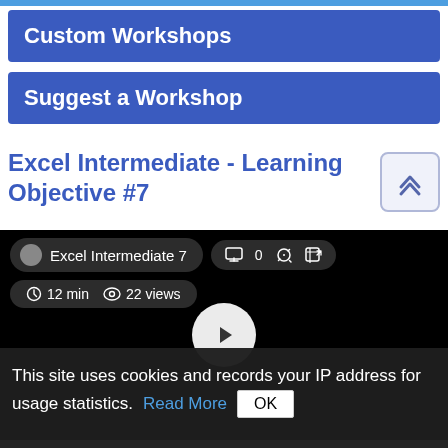Custom Workshops
Suggest a Workshop
Excel Intermediate - Learning Objective #7
[Figure (screenshot): Video player showing Excel Intermediate 7, 12 min, 22 views, with play button, comment/link/share icons]
This site uses cookies and records your IP address for usage statistics. Read More OK